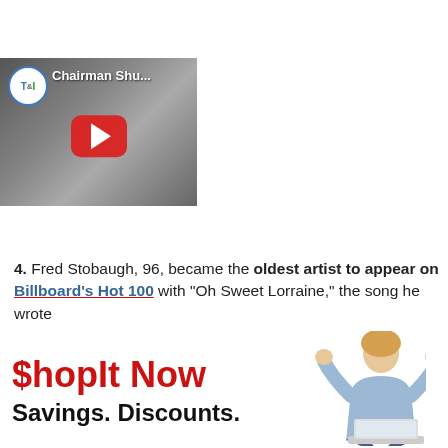[Figure (screenshot): YouTube video thumbnail showing T&I channel logo and title 'Chairman Shu...' with red play button over car interior image]
4. Fred Stobaugh, 96, became the oldest artist to appear on Billboard's Hot 100 with "Oh Sweet Lorraine," the song he wrote
[Figure (other): ShopIt Now advertisement banner with red text '$hopIt Now', subtitle 'Savings, Discounts,' and image of excited woman with laptop]